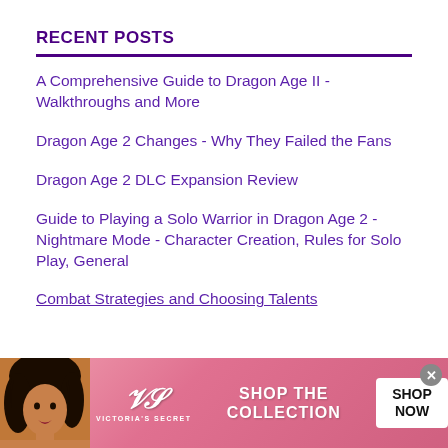RECENT POSTS
A Comprehensive Guide to Dragon Age II - Walkthroughs and More
Dragon Age 2 Changes - Why They Failed the Fans
Dragon Age 2 DLC Expansion Review
Guide to Playing a Solo Warrior in Dragon Age 2 - Nightmare Mode - Character Creation, Rules for Solo Play, General Combat Strategies and Choosing Talents
[Figure (photo): Victoria's Secret advertisement banner with a woman model, VS logo, 'SHOP THE COLLECTION' text and 'SHOP NOW' button]